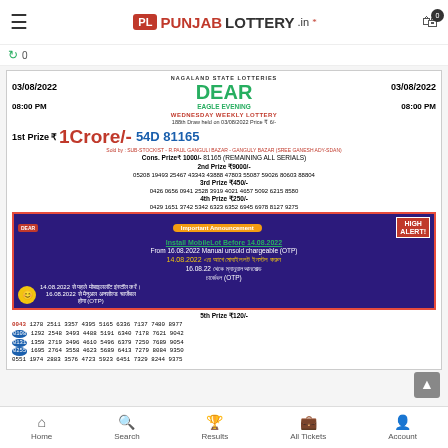Punjab Lottery.in
[Figure (screenshot): Nagaland State Lotteries Dear Eagle Evening Wednesday Weekly Lottery result for 03/08/2022. 1st Prize 1 Crore 54D 81165. 2nd Prize 9000. 3rd Prize 450. 4th Prize 250. 5th Prize 120. Announcement about MobileLot installation before 14.08.2022.]
Home | Search | Results | All Tickets | Account